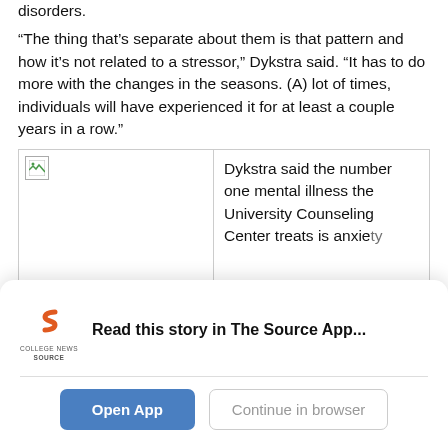disorders.
“The thing that’s separate about them is that pattern and how it’s not related to a stressor,” Dykstra said. “It has to do more with the changes in the seasons. (A) lot of times, individuals will have experienced it for at least a couple years in a row.”
[Figure (photo): Broken image placeholder on left side; right side shows partial text: Dykstra said the number one mental illness the University Counseling Center treats is anxiety]
Dykstra said the number one mental illness the University Counseling Center treats is anxiety
Read this story in The Source App...
Open App
Continue in browser